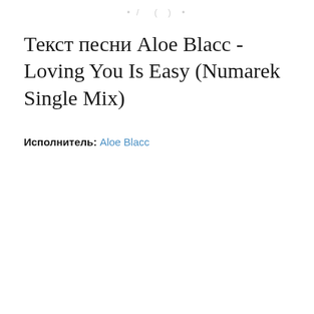. / ( ) .
Текст песни Aloe Blacc - Loving You Is Easy (Numarek Single Mix)
Исполнитель: Aloe Blacc